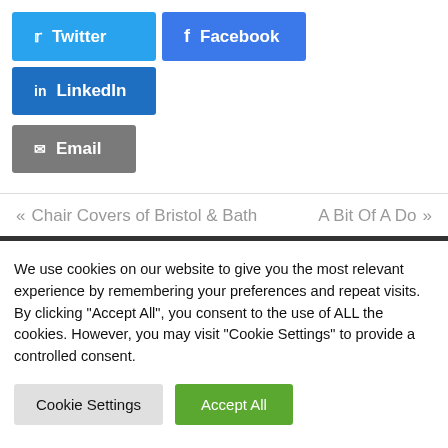[Figure (other): Social share buttons: Twitter (light blue), Facebook (blue), LinkedIn (dark blue), Email (gray)]
« Chair Covers of Bristol & Bath    A Bit Of A Do »
We use cookies on our website to give you the most relevant experience by remembering your preferences and repeat visits. By clicking "Accept All", you consent to the use of ALL the cookies. However, you may visit "Cookie Settings" to provide a controlled consent.
[Figure (other): Cookie consent buttons: Cookie Settings (gray) and Accept All (green)]